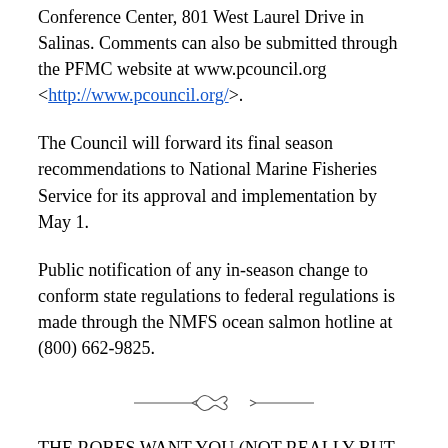Conference Center, 801 West Laurel Drive in Salinas. Comments can also be submitted through the PFMC website at www.pcouncil.org <http://www.pcouncil.org/>.
The Council will forward its final season recommendations to National Marine Fisheries Service for its approval and implementation by May 1.
Public notification of any in-season change to conform state regulations to federal regulations is made through the NMFS ocean salmon hotline at (800) 662-9825.
[Figure (illustration): Decorative horizontal divider with ornamental flourish in the center]
THE ROBES WANT YOU (NOT REALLY BUT THEY FAKE IT PRETTY GOOD)
Recruitment for the 2018/2019 Mandarin Courts Comes